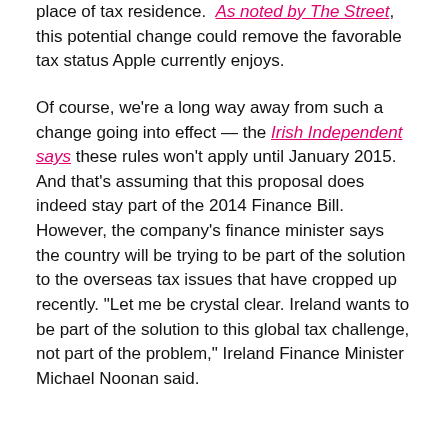place of tax residence.  As noted by The Street, this potential change could remove the favorable tax status Apple currently enjoys.
Of course, we're a long way away from such a change going into effect — the Irish Independent says these rules won't apply until January 2015. And that's assuming that this proposal does indeed stay part of the 2014 Finance Bill. However, the company's finance minister says the country will be trying to be part of the solution to the overseas tax issues that have cropped up recently. "Let me be crystal clear. Ireland wants to be part of the solution to this global tax challenge, not part of the problem," Ireland Finance Minister Michael Noonan said.